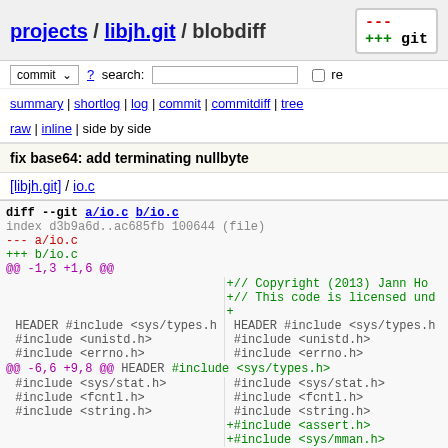projects / libjh.git / blobdiff
commit ? search: re
summary | shortlog | log | commit | commitdiff | tree
raw | inline | side by side
fix base64: add terminating nullbyte
[libjh.git] / io.c
[Figure (screenshot): Git blobdiff view showing diff --git a/io.c b/io.c with added copyright header lines and include statements for assert.h and sys/mman.h]